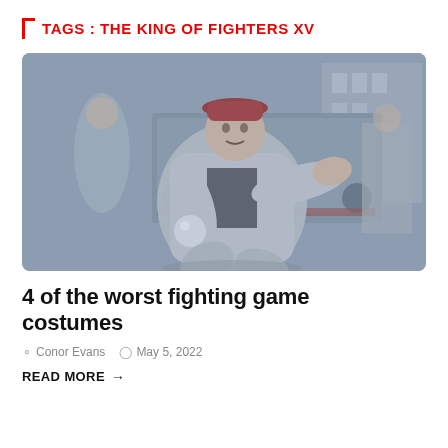TAGS : THE KING OF FIGHTERS XV
[Figure (illustration): Fighting game character artwork showing a muscular man in a grey jacket and red bucket hat in a fighting stance, holding a glowing orb, with other characters and vehicles in the background. Image has a muted/desaturated blue-grey tone.]
4 of the worst fighting game costumes
Conor Evans   May 5, 2022
READ MORE →